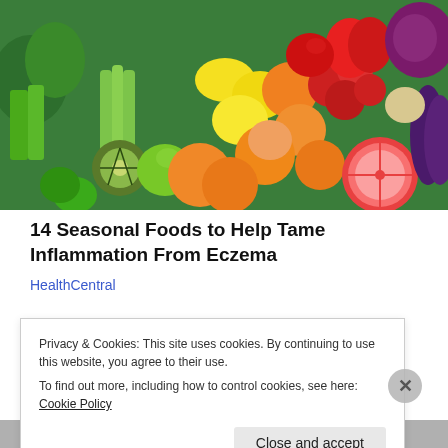[Figure (photo): Colorful rainbow arrangement of fresh fruits and vegetables including green vegetables (cabbage, celery, kiwi, peppers, cucumber), yellow (lemons, pears), orange (oranges, tangerines), red (tomatoes, apples, red peppers, red cabbage), and purple (eggplant). A grapefruit sliced in half is visible.]
14 Seasonal Foods to Help Tame Inflammation From Eczema
HealthCentral
Privacy & Cookies: This site uses cookies. By continuing to use this website, you agree to their use.
To find out more, including how to control cookies, see here: Cookie Policy
Close and accept